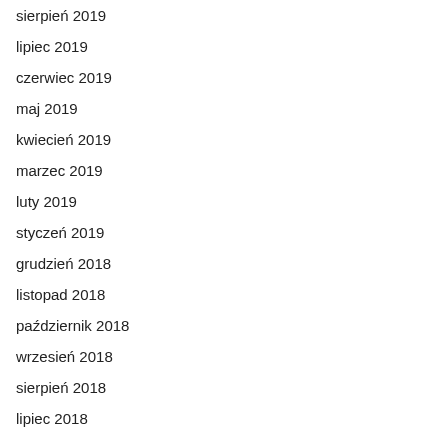sierpień 2019
lipiec 2019
czerwiec 2019
maj 2019
kwiecień 2019
marzec 2019
luty 2019
styczeń 2019
grudzień 2018
listopad 2018
październik 2018
wrzesień 2018
sierpień 2018
lipiec 2018